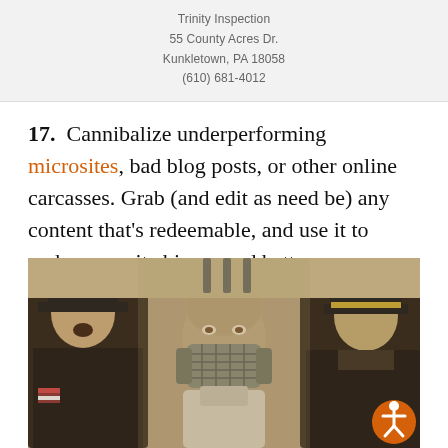Trinity Inspection
55 County Acres Dr.
Kunkletown, PA 18058
(610) 681-4012
17.  Cannibalize underperforming microsites, bad blog posts, or other online carcasses. Grab (and edit as need be) any content that’s redeemable, and use it to make your site bigger and better.
[Figure (photo): Black and white / sepia-toned movie still showing three men: two in police/guard uniforms flanking a central figure wearing a restraint mask, appearing to be from the film Silence of the Lambs. An accessibility icon (orange circle with white person figure) is overlaid in the bottom-right corner.]